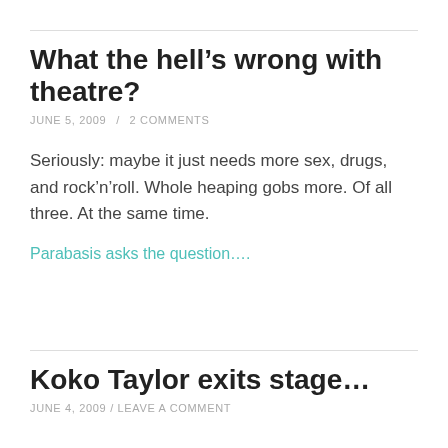What the hell’s wrong with theatre?
JUNE 5, 2009 / 2 COMMENTS
Seriously: maybe it just needs more sex, drugs, and rock’n’roll. Whole heaping gobs more. Of all three. At the same time.
Parabasis asks the question….
Koko Taylor exits stage…
JUNE 4, 2009 / LEAVE A COMMENT